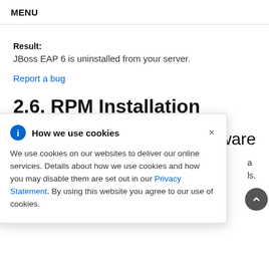MENU
Result:
JBoss EAP 6 is uninstalled from your server.
Report a bug
2.6. RPM Installation
[Figure (infographic): Cookie consent popup overlay with info icon, title 'How we use cookies', close button, and body text about cookie usage with a Privacy Statement link.]
ware
a
ls.
Subscription to both the Red Hat Enterprise Linux Server, software and also a valid JBoss EAP